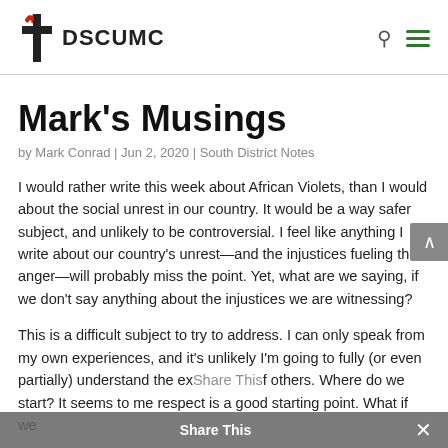DSCUMC
Mark’s Musings
by Mark Conrad | Jun 2, 2020 | South District Notes
I would rather write this week about African Violets, than I would about the social unrest in our country. It would be a way safer subject, and unlikely to be controversial. I feel like anything I write about our country’s unrest—and the injustices fueling the anger—will probably miss the point. Yet, what are we saying, if we don’t say anything about the injustices we are witnessing?
This is a difficult subject to try to address. I can only speak from my own experiences, and it’s unlikely I’m going to fully (or even partially) understand the experiences of others. Where do we start? It seems to me respect is a good starting point. What if we